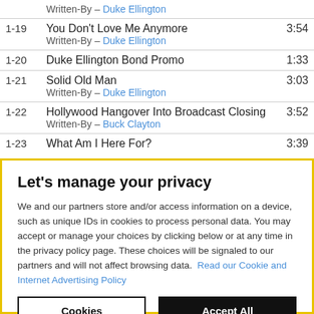| # | Title / Credits | Time |
| --- | --- | --- |
|  | Written-By – Duke Ellington |  |
| 1-19 | You Don't Love Me Anymore
Written-By – Duke Ellington | 3:54 |
| 1-20 | Duke Ellington Bond Promo | 1:33 |
| 1-21 | Solid Old Man
Written-By – Duke Ellington | 3:03 |
| 1-22 | Hollywood Hangover Into Broadcast Closing
Written-By – Buck Clayton | 3:52 |
| 1-23 | What Am I Here For? | 3:39 |
Let's manage your privacy
We and our partners store and/or access information on a device, such as unique IDs in cookies to process personal data. You may accept or manage your choices by clicking below or at any time in the privacy policy page. These choices will be signaled to our partners and will not affect browsing data. Read our Cookie and Internet Advertising Policy